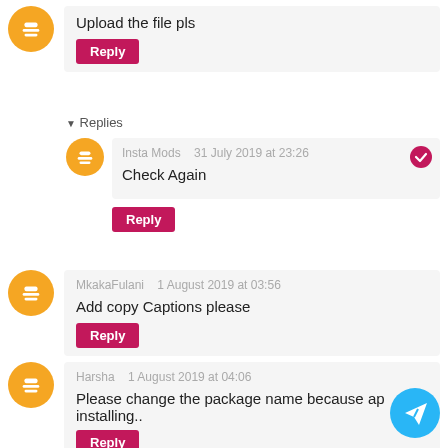Upload the file pls
Reply
Replies
Insta Mods   31 July 2019 at 23:26
Check Again
Reply
MkakaFulani   1 August 2019 at 03:56
Add copy Captions please
Reply
Harsha   1 August 2019 at 04:06
Please change the package name because ap installing..
Reply